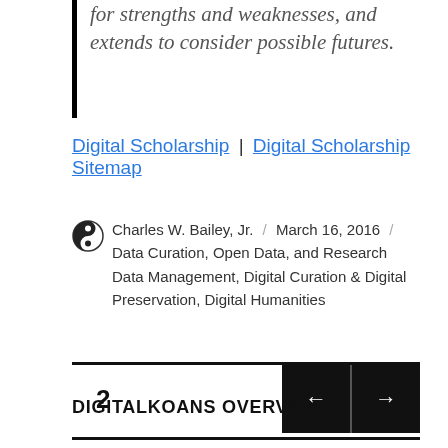for strengths and weaknesses, and extends to consider possible futures.
Digital Scholarship | Digital Scholarship Sitemap
Charles W. Bailey, Jr. / March 16, 2016 / Data Curation, Open Data, and Research Data Management, Digital Curation & Digital Preservation, Digital Humanities
2
DIGITALKOANS OVERVIEW